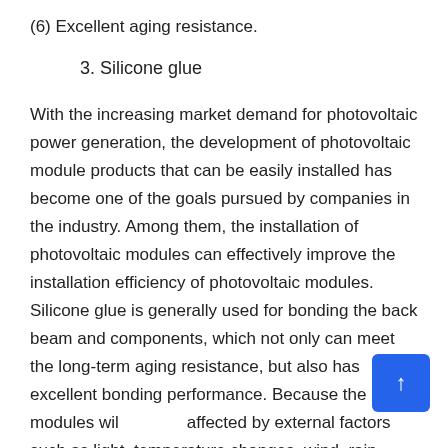(6) Excellent aging resistance.
3. Silicone glue
With the increasing market demand for photovoltaic power generation, the development of photovoltaic module products that can be easily installed has become one of the goals pursued by companies in the industry. Among them, the installation of photovoltaic modules can effectively improve the installation efficiency of photovoltaic modules. Silicone glue is generally used for bonding the back beam and components, which not only can meet the long-term aging resistance, but also has excellent bonding performance. Because the modules will be affected by external factors such as light, temperature changes, wind, rain, snow, ice, salt